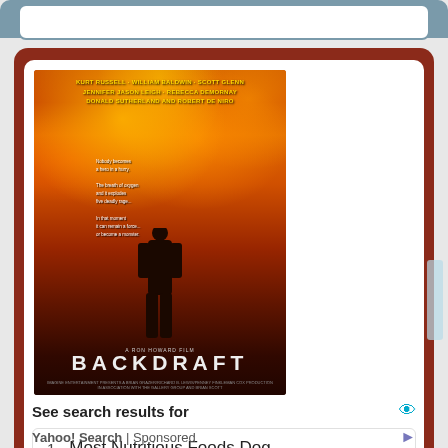[Figure (screenshot): Top rounded box element, gray/blue header bar with white rounded rectangle inside]
[Figure (photo): Backdraft movie poster showing a firefighter silhouette against flames. Credits: Kurt Russell, William Baldwin, Scott Glenn, Jennifer Jason Leigh, Rebecca DeMornay, Donald Sutherland and Robert De Niro. Title: BACKDRAFT in large letters at bottom.]
See search results for
1   Most Nutritious Foods Dog
2   Employees Engagement Assessment
Yahoo! Search | Sponsored